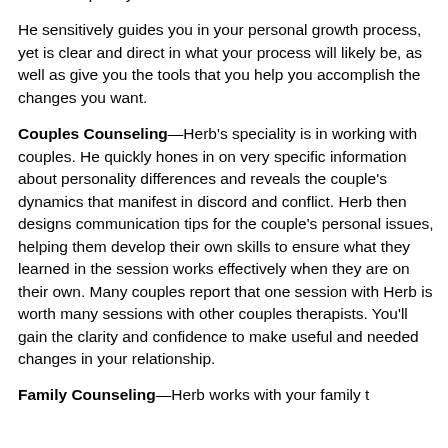relationship communication skills. You will communicate with more confidence, expertise and satisfaction to the unique relationships in your life.
He sensitively guides you in your personal growth process, yet is clear and direct in what your process will likely be, as well as give you the tools that you help you accomplish the changes you want.
Couples Counseling—Herb's speciality is in working with couples. He quickly hones in on very specific information about personality differences and reveals the couple's dynamics that manifest in discord and conflict. Herb then designs communication tips for the couple's personal issues, helping them develop their own skills to ensure what they learned in the session works effectively when they are on their own. Many couples report that one session with Herb is worth many sessions with other couples therapists. You'll gain the clarity and confidence to make useful and needed changes in your relationship.
Family Counseling—Herb works with your family t...